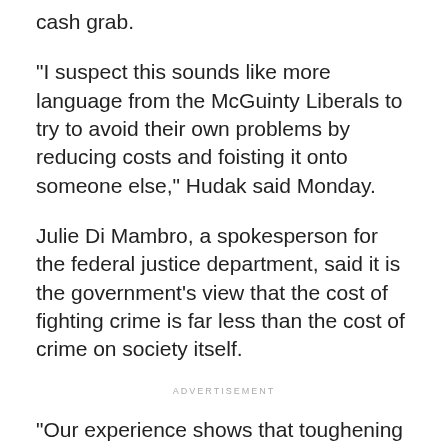cash grab.
"I suspect this sounds like more language from the McGuinty Liberals to try to avoid their own problems by reducing costs and foisting it onto someone else," Hudak said Monday.
Julie Di Mambro, a spokesperson for the federal justice department, said it is the government's view that the cost of fighting crime is far less than the cost of crime on society itself.
ADVERTISEMENT
"Our experience shows that toughening sentences doesn't create new criminals, it simply keeps criminals in jail for an appropriate amount of time," Di Mambro